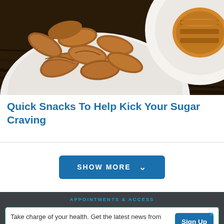[Figure (photo): Overhead photo of a white bowl filled with almonds on a dark wood surface, with a partial view of another white plate with a baked item on the right side.]
Quick Snacks To Help Kick Your Sugar Craving
SHOW MORE
APPOINTMENTS & ACCESS
Ad
Take charge of your health. Get the latest news from Health Essentials
Sign Up